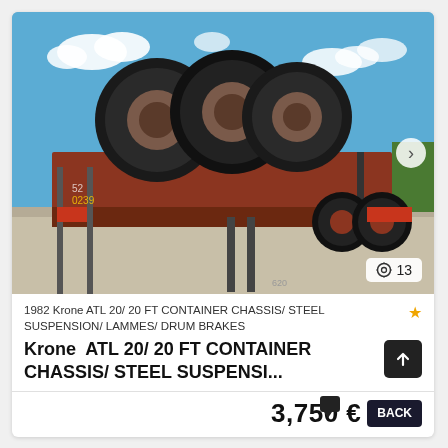[Figure (photo): Red Krone ATL 20 FT container chassis semi-trailer with visible large tires stacked on back, photographed outdoors on a paved area with blue sky, green trees and grass in background.]
1982 Krone ATL 20/ 20 FT CONTAINER CHASSIS/ STEEL SUSPENSION/ LAMMES/ DRUM BRAKES
Krone  ATL 20/ 20 FT CONTAINER CHASSIS/ STEEL SUSPENSI...
3,750 €